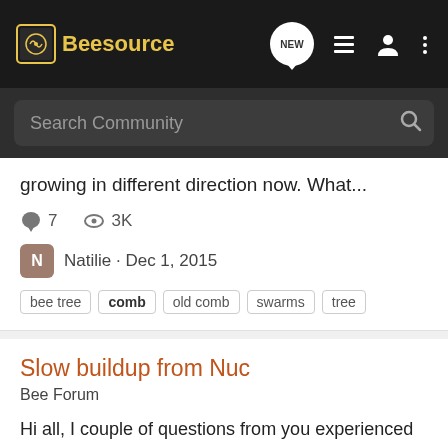Beesource
growing in different direction now. What...
7   3K
Natilie · Dec 1, 2015
bee tree   comb   old comb   swarms   tree
Slow buildup from Nuc
Bee Forum
Hi all, I couple of questions from you experienced beekeepers. The summer and bloom here in Nova Scotia started rather late, consequently I received my Nucs the first week of June only. At present they have been really slow at drawing out comb. In fact the better of the two hives has only...